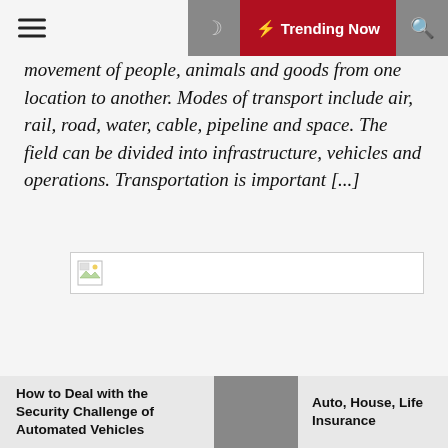Trending Now
movement of people, animals and goods from one location to another. Modes of transport include air, rail, road, water, cable, pipeline and space. The field can be divided into infrastructure, vehicles and operations. Transportation is important [...]
[Figure (photo): Broken/missing image placeholder]
How to Deal with the Security Challenge of Automated Vehicles | Auto, House, Life Insurance